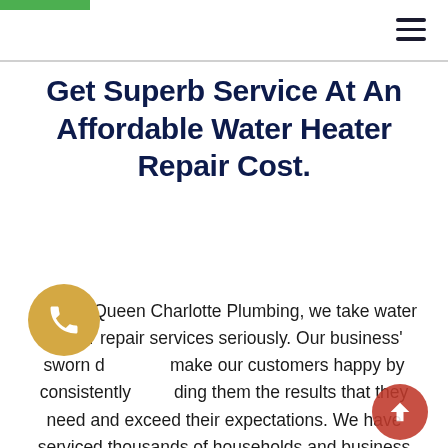Get Superb Service At An Affordable Water Heater Repair Cost.
Here at Queen Charlotte Plumbing, we take water heater repair services seriously. Our business' sworn duty is to make our customers happy by consistently providing them the results that they need and exceed their expectations. We have serviced thousands of households and business establishments in Mint Hill NC and we are known to provide top-quality plumbing services which include